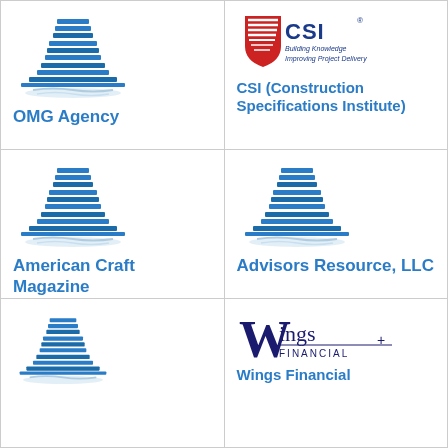[Figure (logo): Generic blue office building icon for OMG Agency]
OMG Agency
[Figure (logo): CSI (Construction Specifications Institute) logo with red shield and text 'Building Knowledge Improving Project Delivery']
CSI (Construction Specifications Institute)
[Figure (logo): Generic blue office building icon for American Craft Magazine]
American Craft Magazine
[Figure (logo): Generic blue office building icon for Advisors Resource, LLC]
Advisors Resource, LLC
[Figure (logo): Generic blue office building icon (partial, bottom row)]
[Figure (logo): Wings Financial logo with large W and text 'ings FINANCIAL +']